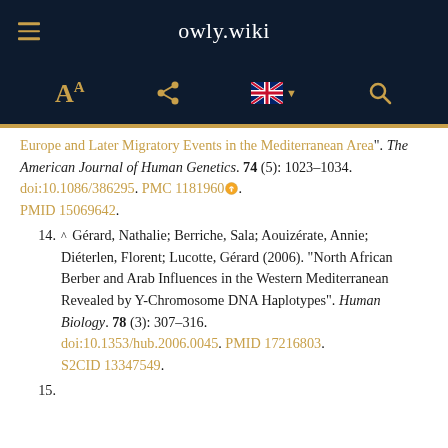owly.wiki
Europe and Later Migratory Events in the Mediterranean Area". The American Journal of Human Genetics. 74 (5): 1023–1034. doi:10.1086/386295. PMC 1181960. PMID 15069642.
14. ^ Gérard, Nathalie; Berriche, Sala; Aouizérate, Annie; Diéterlen, Florent; Lucotte, Gérard (2006). "North African Berber and Arab Influences in the Western Mediterranean Revealed by Y-Chromosome DNA Haplotypes". Human Biology. 78 (3): 307–316. doi:10.1353/hub.2006.0045. PMID 17216803. S2CID 13347549.